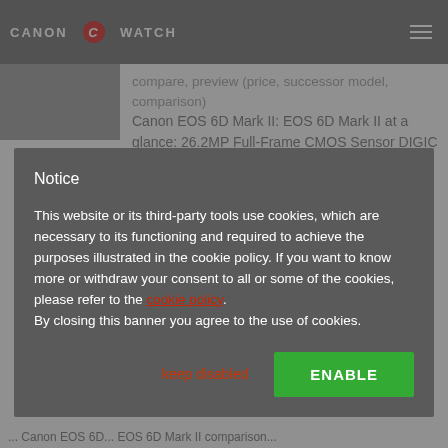CANON C WATCH
Canon EOS 6D Mark II: EOS 6D Mark II at a glance: 26.2MP Full-Frame CMOS Sensor DIGIC 7 Image Processor 45-Point All-Cross Type AF System Full HD Video at 60...
Notice
This website or its third-party tools use cookies, which are necessary to its functioning and required to achieve the purposes illustrated in the cookie policy. If you want to know more or withdraw your consent to all or some of the cookies, please refer to the cookie policy. By closing this banner you agree to the use of cookies.
keep disabled | ENABLE
Canon EOS 6D... EOS 6D Mark II comparison...